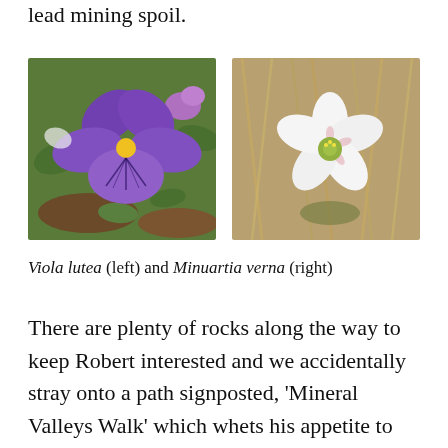lead mining spoil.
[Figure (photo): Close-up photograph of a purple Viola lutea flower with yellow center and dark veins, growing among green foliage]
[Figure (photo): Close-up photograph of a white Minuartia verna flower with five petals and pink markings, against dry grass background]
Viola lutea (left) and Minuartia verna (right)
There are plenty of rocks along the way to keep Robert interested and we accidentally stray onto a path signposted, ‘Mineral Valleys Walk’ which whets his appetite to return for more. The